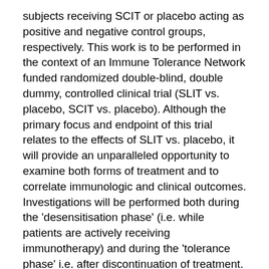subjects receiving SCIT or placebo acting as positive and negative control groups, respectively. This work is to be performed in the context of an Immune Tolerance Network funded randomized double-blind, double dummy, controlled clinical trial (SLIT vs. placebo, SCIT vs. placebo). Although the primary focus and endpoint of this trial relates to the effects of SLIT vs. placebo, it will provide an unparalleled opportunity to examine both forms of treatment and to correlate immunologic and clinical outcomes. Investigations will be performed both during the 'desensitisation phase' (i.e. while patients are actively receiving immunotherapy) and during the 'tolerance phase' i.e. after discontinuation of treatment. This work also has the potential to inform selection of novel biomarkers for effective SLIT and SCIT. We hypothesize that grass pollen immunotherapy (SLIT and SCIT but not placebo) will: 1. Reduce the frequencies of circulating grass pollen tetramer-reactive T cells. 2. Alter phenotypes of grass pollen tetramer-reactive Th2 cells in favor of antigen-specific Tregs and Th1 cells. 3. Induce